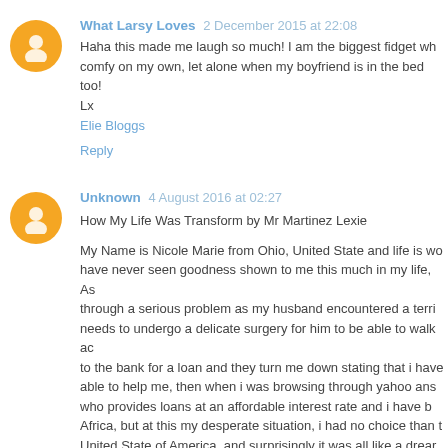What Larsy Loves 2 December 2015 at 22:08
Haha this made me laugh so much! I am the biggest fidget wh comfy on my own, let alone when my boyfriend is in the bed too! Lx
Elie Bloggs
Reply
Unknown 4 August 2016 at 02:27
How My Life Was Transform by Mr Martinez Lexie
My Name is Nicole Marie from Ohio, United State and life is wo have never seen goodness shown to me this much in my life, As through a serious problem as my husband encountered a terri needs to undergo a delicate surgery for him to be able to walk ac to the bank for a loan and they turn me down stating that i have able to help me, then when i was browsing through yahoo ans who provides loans at an affordable interest rate and i have b Africa, but at this my desperate situation, i had no choice than t United State of America, and surprisingly it was all like a drear husband surgery and thank GOD today he is ok and can walk, m world the wonders this great and God fearing Man Mr Martinez and serious need of a loan do contact this GOD fearing man w Company website: http://lexieloans.bravesites.com OR text: +18